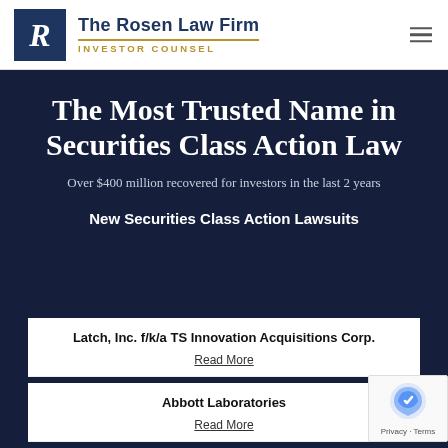The Rosen Law Firm INVESTOR COUNSEL
The Most Trusted Name in Securities Class Action Law
Over $400 million recovered for investors in the last 2 years
New Securities Class Action Lawsuits
Latch, Inc. f/k/a TS Innovation Acquisitions Corp.
Read More
Abbott Laboratories
Read More